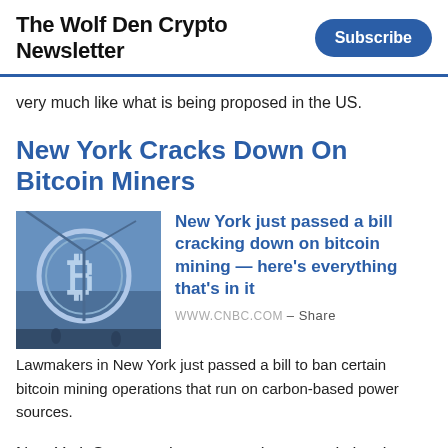The Wolf Den Crypto Newsletter
very much like what is being proposed in the US.
New York Cracks Down On Bitcoin Miners
[Figure (photo): Blue-tinted photograph of a large Bitcoin coin sculpture or sign with industrial equipment and figures in the background.]
New York just passed a bill cracking down on bitcoin mining — here's everything that's in it
WWW.CNBC.COM – Share
Lawmakers in New York just passed a bill to ban certain bitcoin mining operations that run on carbon-based power sources.
New York State continues to work extremely hard at